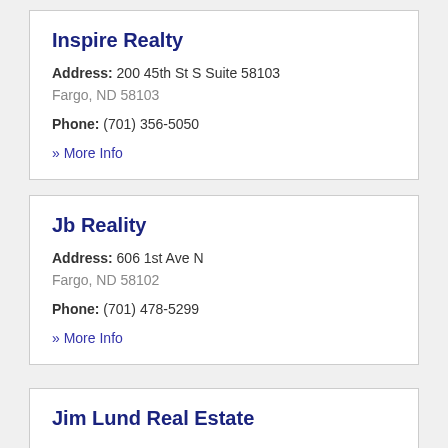Inspire Realty
Address: 200 45th St S Suite 58103
Fargo, ND 58103
Phone: (701) 356-5050
» More Info
Jb Reality
Address: 606 1st Ave N
Fargo, ND 58102
Phone: (701) 478-5299
» More Info
Jim Lund Real Estate